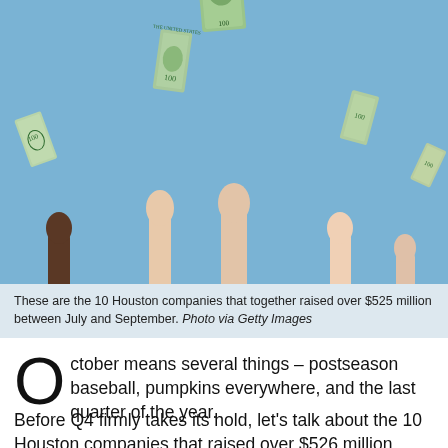[Figure (photo): Multiple hands raised holding US dollar bills against a light blue background]
These are the 10 Houston companies that together raised over $525 million between July and September. Photo via Getty Images
October means several things – postseason baseball, pumpkins everywhere, and the last quarter of the year.
Before Q4 firmly takes its hold, let's talk about the 10 Houston companies that raised over $526 million between July and September, according to previous